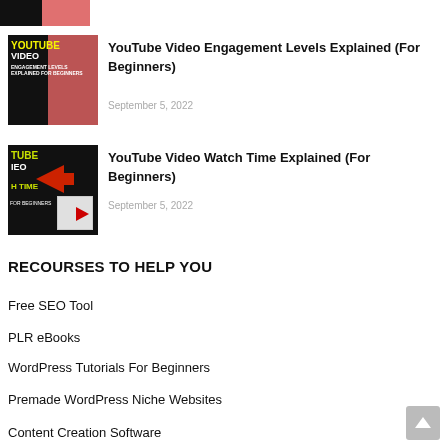[Figure (photo): Partial thumbnail image strip at top — black and salmon/red portions visible]
[Figure (photo): YouTube Video Engagement Levels Explained thumbnail — black background with yellow/white text and red overlay panel]
YouTube Video Engagement Levels Explained (For Beginners)
September 5, 2022
[Figure (photo): YouTube Video Watch Time Explained thumbnail — black background with yellow/white text, red arrow, red box with play button]
YouTube Video Watch Time Explained (For Beginners)
September 5, 2022
RECOURSES TO HELP YOU
Free SEO Tool
PLR eBooks
WordPress Tutorials For Beginners
Premade WordPress Niche Websites
Content Creation Software